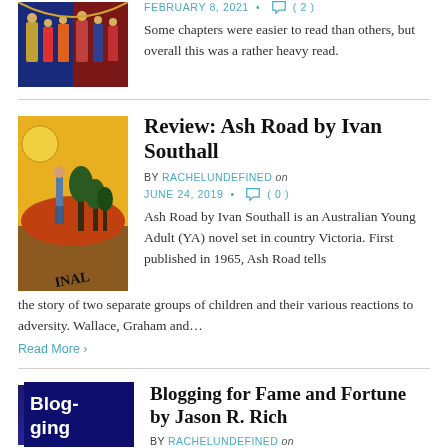[Figure (illustration): Book cover thumbnail - medieval illustrated manuscript scene with figures in red and blue]
FEBRUARY 8, 2021 • ( 2 )
Some chapters were easier to read than others, but overall this was a rather heavy read.
Review: Ash Road by Ivan Southall
BY RACHELUNDEFINED on JUNE 24, 2019 • ( 0 )
[Figure (illustration): Book cover for Ash Road - yellow background with figure standing among stylized Australian landscape with trees and flames, text INAL at bottom]
Ash Road by Ivan Southall is an Australian Young Adult (YA) novel set in country Victoria. First published in 1965, Ash Road tells the story of two separate groups of children and their various reactions to adversity. Wallace, Graham and…
Read More ›
Blogging for Fame and Fortune by Jason R. Rich
BY RACHELUNDEFINED on
[Figure (illustration): Book cover for Blogging for Fame and Fortune - dark blue background with white bold text BLOGGING]